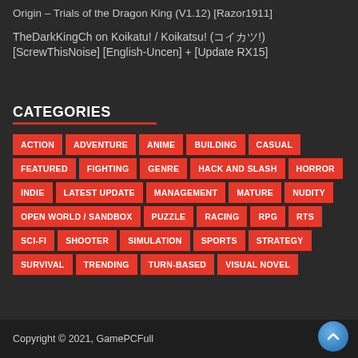Origin – Trials of the Dragon King (V1.12) [Razor1911]
TheDarkKingCh on Koikatu! / Koikatsu! (コイカツ!) [ScrewThisNoise] [English-Uncen] + [Update RX15]
CATEGORIES
ACTION
ADVENTURE
ANIME
BUILDING
CASUAL
FEATURED
FIGHTING
GENRE
HACK AND SLASH
HORROR
INDIE
LATEST UPDATE
MANAGEMENT
MATURE
NUDITY
OPEN WORLD / SANDBOX
PUZZLE
RACING
RPG
RTS
SCI-FI
SHOOTER
SIMULATION
SPORTS
STRATEGY
SURVIVAL
TRENDING
TURN-BASED
VISUAL NOVEL
Copyright © 2021, GamePCFull